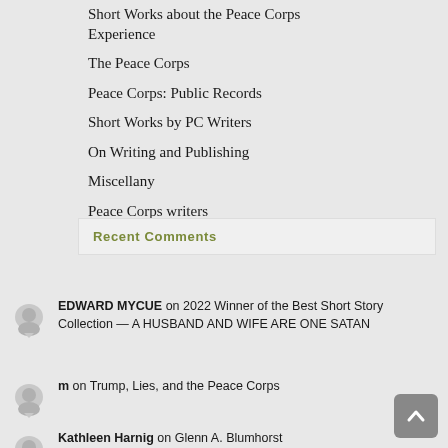Short Works about the Peace Corps Experience
The Peace Corps
Peace Corps: Public Records
Short Works by PC Writers
On Writing and Publishing
Miscellany
Peace Corps writers
Recent Comments
EDWARD MYCUE on 2022 Winner of the Best Short Story Collection — A HUSBAND AND WIFE ARE ONE SATAN
m on Trump, Lies, and the Peace Corps
Kathleen Harnig on Glenn A. Blumhorst